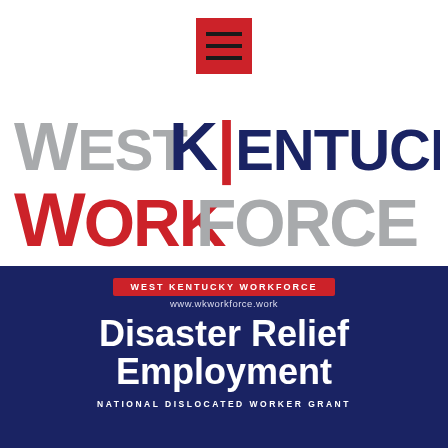[Figure (logo): Hamburger menu icon — three horizontal black lines on a red square background]
[Figure (logo): West Kentucky Workforce logo: WEST in gray, KENTUCKY in dark navy, WORK in red, FORCE in gray, stacked in two lines with large bold sans-serif type]
[Figure (infographic): Dark navy banner with red badge reading WEST KENTUCKY WORKFORCE, URL www.wkworkforce.work, large white bold text Disaster Relief Employment, subtitle NATIONAL DISLOCATED WORKER GRANT]